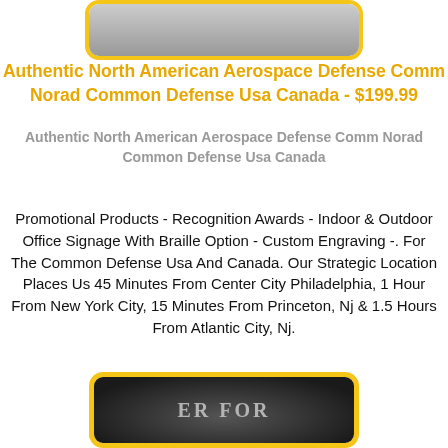[Figure (photo): Partial product image at top of page, cropped, with yellow rounded border]
Authentic North American Aerospace Defense Comm Norad Common Defense Usa Canada - $199.99
Authentic North American Aerospace Defense Comm Norad Common Defense Usa Canada
Promotional Products - Recognition Awards - Indoor & Outdoor Office Signage With Braille Option - Custom Engraving -. For The Common Defense Usa And Canada. Our Strategic Location Places Us 45 Minutes From Center City Philadelphia, 1 Hour From New York City, 15 Minutes From Princeton, Nj & 1.5 Hours From Atlantic City, Nj.
[Figure (photo): Partial product image at bottom of page showing a circular badge/coin with text 'ER FOR', with yellow rounded border on dark background]